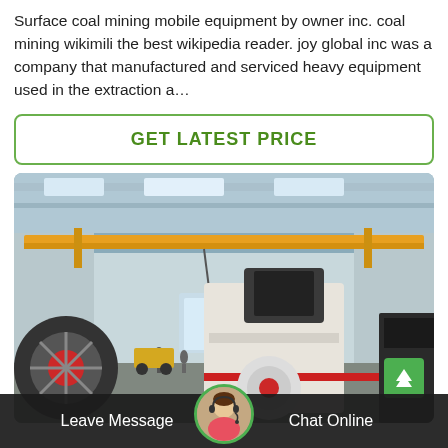Surface coal mining mobile equipment by owner inc. coal mining wikimili the best wikipedia reader. joy global inc was a company that manufactured and serviced heavy equipment used in the extraction a…
[Figure (other): Green rounded-rectangle button with bold green text reading GET LATEST PRICE]
[Figure (photo): Factory/warehouse interior with overhead crane (yellow beam), large industrial crusher machinery in foreground (white/cream colored with red accent ring), other heavy equipment visible, people in background]
Leave Message   Chat Online